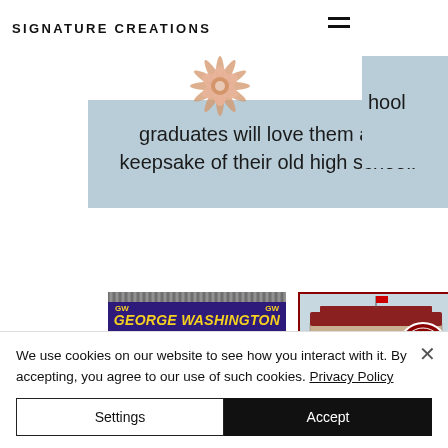SIGNATURE CREATIONS
[Figure (illustration): Decorative flower/star logo illustration in peach/salmon color]
graduates will love them as a keepsake of their old high school.
[Figure (photo): George Washington High School merchandise item with purple background and gold lettering]
[Figure (photo): Burlingame High School merchandise showing school building illustration]
We use cookies on our website to see how you interact with it. By accepting, you agree to our use of such cookies. Privacy Policy
Settings
Accept